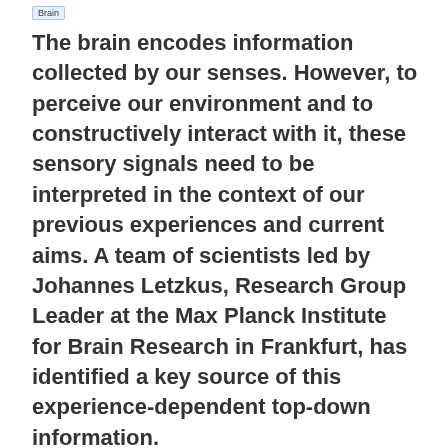Brain
The brain encodes information collected by our senses. However, to perceive our environment and to constructively interact with it, these sensory signals need to be interpreted in the context of our previous experiences and current aims. A team of scientists led by Johannes Letzkus, Research Group Leader at the Max Planck Institute for Brain Research in Frankfurt, has identified a key source of this experience-dependent top-down information.